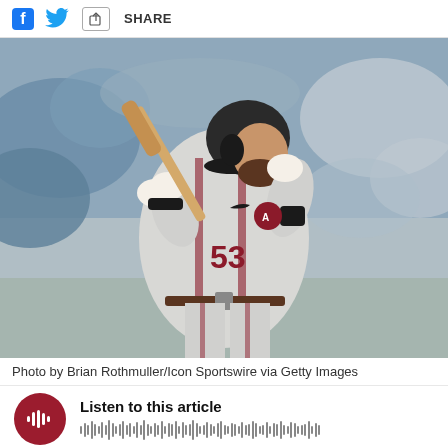Share
[Figure (photo): Arizona Diamondbacks baseball player wearing number 53 in batting stance, holding bat up over right shoulder, wearing gray uniform with dark red accents and black batting helmet, crowd visible in background at stadium]
Photo by Brian Rothmuller/Icon Sportswire via Getty Images
Listen to this article